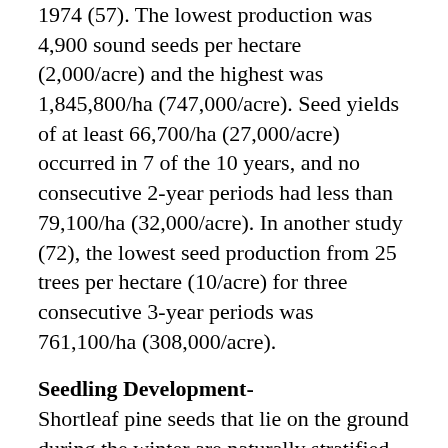1974 (57). The lowest production was 4,900 sound seeds per hectare (2,000/acre) and the highest was 1,845,800/ha (747,000/acre). Seed yields of at least 66,700/ha (27,000/acre) occurred in 7 of the 10 years, and no consecutive 2-year periods had less than 79,100/ha (32,000/acre). In another study (72), the lowest seed production from 25 trees per hectare (10/acre) for three consecutive 3-year periods was 761,100/ha (308,000/acre).
Seedling Development-
Shortleaf pine seeds that lie on the ground during the winter are naturally stratified and epigeous germination takes place in early spring. There is some evidence that a few seeds do not germinate until